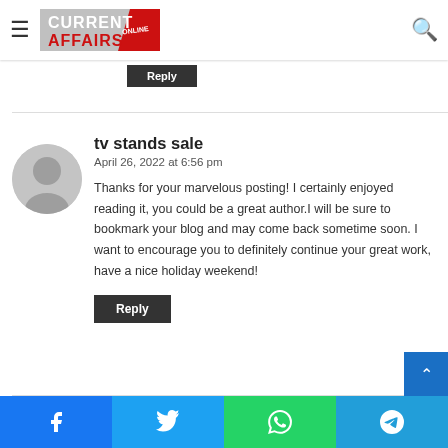Current Affairs Online — site navigation header with hamburger menu, logo, and search icon
...has been improved on. Thank ...
Reply
tv stands sale
April 26, 2022 at 6:56 pm
Thanks for your marvelous posting! I certainly enjoyed reading it, you could be a great author.I will be sure to bookmark your blog and may come back sometime soon. I want to encourage you to definitely continue your great work, have a nice holiday weekend!
Reply